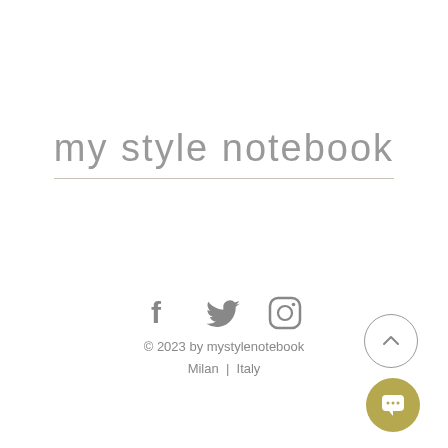my style notebook
[Figure (infographic): Social media icons: Facebook, Twitter, Instagram in gray]
© 2023 by mystylenotebook
Milan | Italy
[Figure (other): Scroll-to-top button: circle with upward chevron]
[Figure (other): Chat button: golden circle with speech bubble icon]